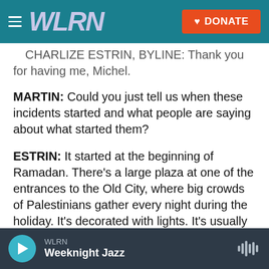[Figure (screenshot): WLRN public radio website header with teal background, hamburger menu icon, WLRN logo in silver/blue italic text, and orange DONATE button with heart icon]
CHARLIZE ESTRIN, BYLINE: Thank you for having me, Michel.
MARTIN: Could you just tell us when these incidents started and what people are saying about what started them?
ESTRIN: It started at the beginning of Ramadan. There's a large plaza at one of the entrances to the Old City, where big crowds of Palestinians gather every night during the holiday. It's decorated with lights. It's usually very festive. This year, however, Israeli police fenced off a lot of the area. They don't usually do that, and they say it was for crowd
WLRN  Weeknight Jazz